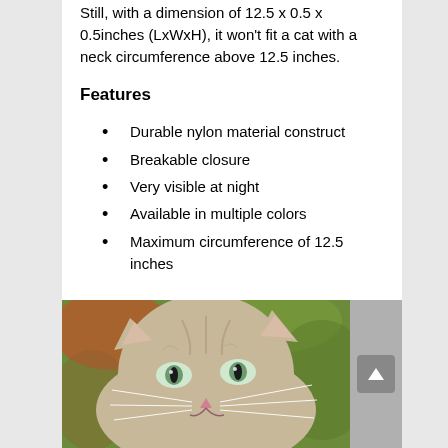Still, with a dimension of 12.5 x 0.5 x 0.5inches (LxWxH), it won't fit a cat with a neck circumference above 12.5 inches.
Features
Durable nylon material construct
Breakable closure
Very visible at night
Available in multiple colors
Maximum circumference of 12.5 inches
[Figure (photo): Close-up photo of a cat's face, showing whiskers and blue-green eyes, with a blurred green and orange background. A grey scrollbar is visible on the right side.]